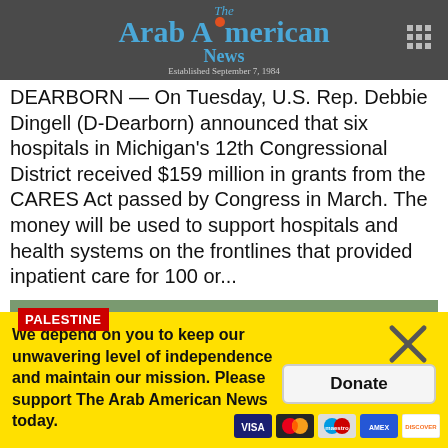The Arab American News — Established September 7, 1984
DEARBORN — On Tuesday, U.S. Rep. Debbie Dingell (D-Dearborn) announced that six hospitals in Michigan's 12th Congressional District received $159 million in grants from the CARES Act passed by Congress in March. The money will be used to support hospitals and health systems on the frontlines that provided inpatient care for 100 or...
[Figure (photo): Protest sign photo with PALESTINE label in red. Signs visible: 'Israel Lobby Inside', 'Free Palestine', 'Break the Sile[nce]', and partial sign 'A Judaic Value?'. Background shows trees and protesters.]
We depend on you to keep our unwavering level of independence and maintain our mission. Please support The Arab American News today.